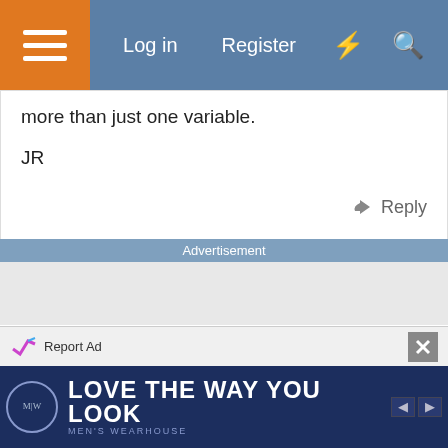Log in  Register
more than just one variable.
JR
Reply
Advertisement
[Figure (other): Advertisement placeholder area (gray background)]
Report Ad
[Figure (other): Men's Wearhouse banner ad: LOVE THE WAY YOU LOOK]